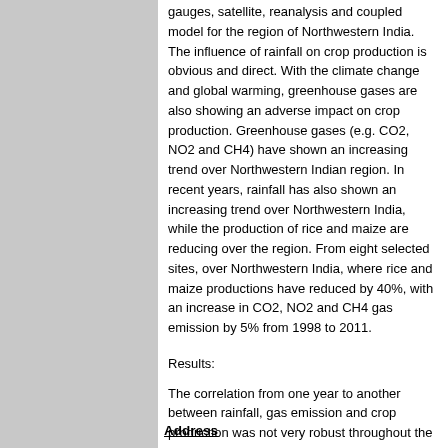gauges, satellite, reanalysis and coupled model for the region of Northwestern India. The influence of rainfall on crop production is obvious and direct. With the climate change and global warming, greenhouse gases are also showing an adverse impact on crop production. Greenhouse gases (e.g. CO2, NO2 and CH4) have shown an increasing trend over Northwestern Indian region. In recent years, rainfall has also shown an increasing trend over Northwestern India, while the production of rice and maize are reducing over the region. From eight selected sites, over Northwestern India, where rice and maize productions have reduced by 40%, with an increase in CO2, NO2 and CH4 gas emission by 5% from 1998 to 2011.
Results:
The correlation from one year to another between rainfall, gas emission and crop production was not very robust throughout the study period, but seemed to be stronger for some years than others.
Conclusion:
Such trends and crop yield are attributed to rainfall, greenhouse gas emissions and to the climate variability.
Address